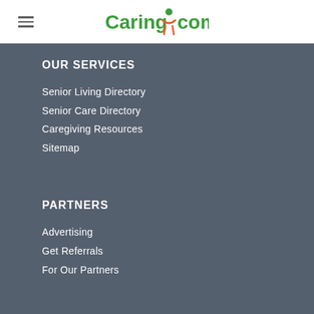[Figure (logo): Caring.com logo with orange/green human figure icon between 'Caring' and 'com' text]
OUR SERVICES
Senior Living Directory
Senior Care Directory
Caregiving Resources
Sitemap
PARTNERS
Advertising
Get Referrals
For Our Partners
WHO WE ARE